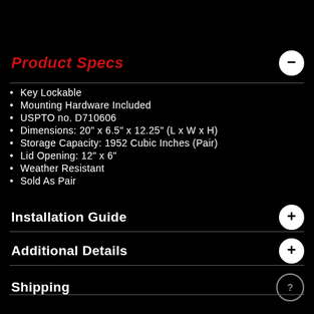Product Specs
Key Lockable
Mounting Hardware Included
USPTO no. D710606
Dimensions: 20" x 6.5" x 12.25" (L x W x H)
Storage Capacity: 1952 Cubic Inches (Pair)
Lid Opening: 12" x 6"
Weather Resistant
Sold As Pair
Installation Guide
Additional Details
Shipping